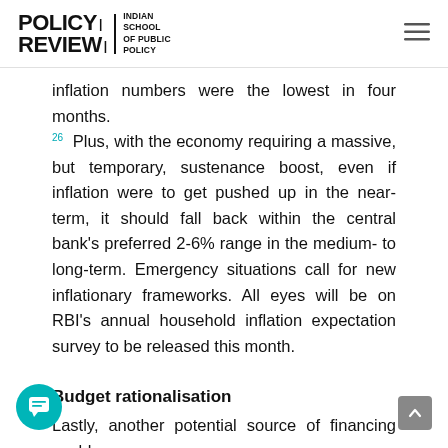POLICY REVIEW | INDIAN SCHOOL OF PUBLIC POLICY
inflation numbers were the lowest in four months. 26 Plus, with the economy requiring a massive, but temporary, sustenance boost, even if inflation were to get pushed up in the near-term, it should fall back within the central bank's preferred 2-6% range in the medium- to long-term. Emergency situations call for new inflationary frameworks. All eyes will be on RBI's annual household inflation expectation survey to be released this month.
Budget rationalisation
Lastly, another potential source of financing could